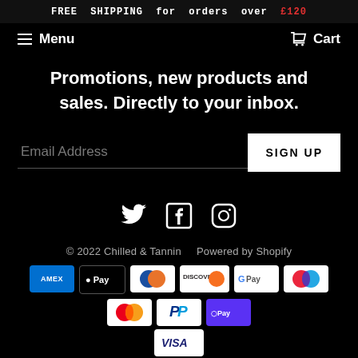FREE SHIPPING for orders over £120
≡ Menu   🛒 Cart
Promotions, new products and sales. Directly to your inbox.
Email Address  SIGN UP
[Figure (illustration): Social media icons: Twitter, Facebook, Instagram]
© 2022 Chilled & Tannin   Powered by Shopify
[Figure (illustration): Payment method badges: Amex, Apple Pay, Diners Club, Discover, Google Pay, Maestro, Mastercard, PayPal, Shop Pay, Visa]